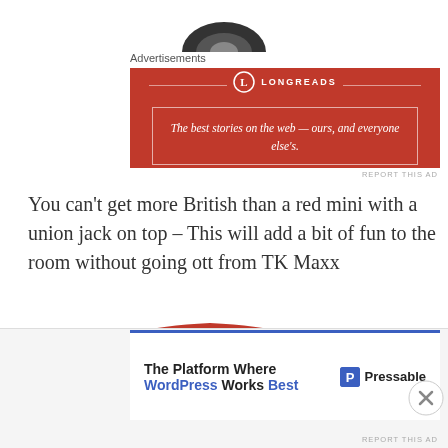[Figure (photo): Partial image of a small model car wheel/tire visible at the very top of the page]
Advertisements
[Figure (other): Longreads advertisement banner: red background with Longreads logo and tagline 'The best stories on the web — ours, and everyone else's.']
You can't get more British than a red mini with a union jack on top – This will add a bit of fun to the room without going ott from TK Maxx
[Figure (photo): Top portion of a red British telephone box showing the crown emblem and 'TELEPHONE' sign]
Advertisements
[Figure (other): Pressable advertisement: 'The Platform Where WordPress Works Best' with Pressable logo on white background with blue top border]